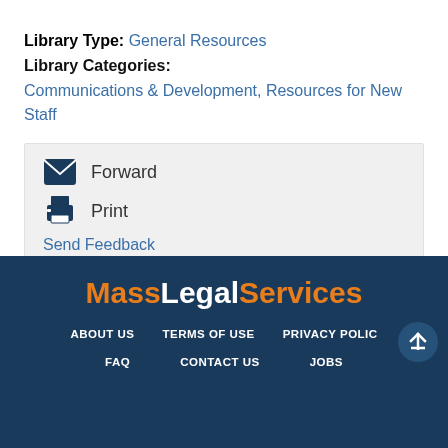Library Type: General Resources
Library Categories:
Communications & Development, Resources for New Staff
Forward
Print
Send Feedback
Tweet
MassLegalServices | ABOUT US | TERMS OF USE | PRIVACY POLICY | FAQ | CONTACT US | JOBS